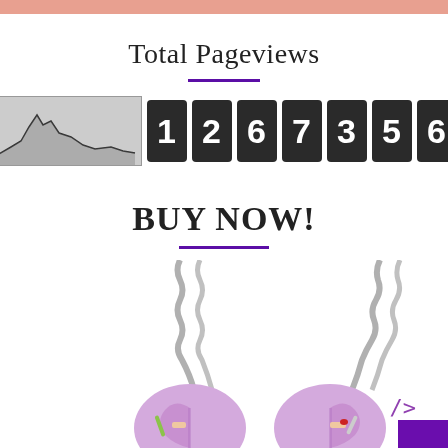Total Pageviews
[Figure (other): Pageview counter widget showing a sparkline chart on the left and 7 flip-counter digit blocks displaying '1267356']
BUY NOW!
[Figure (photo): Photo of two matching best-friend necklaces on silver chains, each with a pink/purple half-heart pendant showing a hand holding a joint/marijuana cigarette, enamel style]